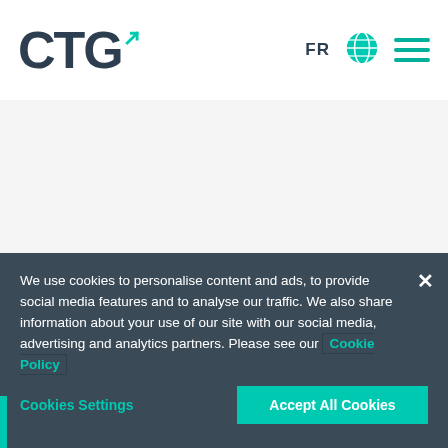[Figure (logo): CTG logo with teal arrow/cursor mark, dark navy text]
FR
[Figure (illustration): Globe icon in teal]
[Figure (illustration): Hamburger menu icon with three teal horizontal lines]
We use cookies to personalise content and ads, to provide social media features and to analyse our traffic. We also share information about your use of our site with our social media, advertising and analytics partners. Please see our Cookie Policy
Cookies Settings
Accept All Cookies